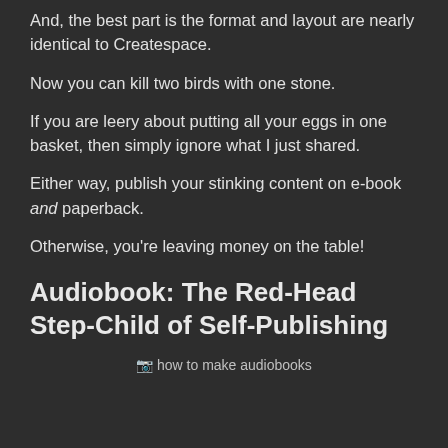And, the best part is the format and layout are nearly identical to Createspace.
Now you can kill two birds with one stone.
If you are leery about putting all your eggs in one basket, then simply ignore what I just shared.
Either way, publish your stinking content on e-book and paperback.
Otherwise, you're leaving money on the table!
Audiobook: The Red-Head Step-Child of Self-Publishing
[Figure (photo): Image placeholder showing text 'how to make audiobooks']